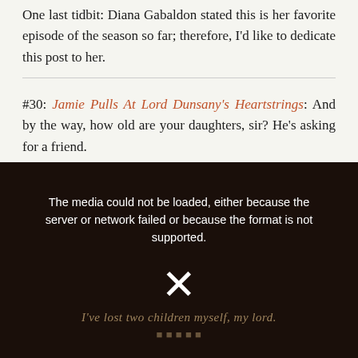One last tidbit: Diana Gabaldon stated this is her favorite episode of the season so far; therefore, I'd like to dedicate this post to her.
#30: Jamie Pulls At Lord Dunsany's Heartstrings: And by the way, how old are your daughters, sir? He's asking for a friend.
[Figure (screenshot): Dark video player showing a scene from a period drama with an error message overlaid: 'The media could not be loaded, either because the server or network failed or because the format is not supported.' with an X symbol, and subtitle text at the bottom reading 'I've lost two children myself, my lord.']